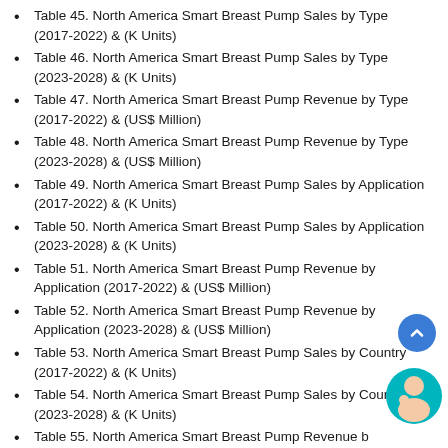Table 45. North America Smart Breast Pump Sales by Type (2017-2022) & (K Units)
Table 46. North America Smart Breast Pump Sales by Type (2023-2028) & (K Units)
Table 47. North America Smart Breast Pump Revenue by Type (2017-2022) & (US$ Million)
Table 48. North America Smart Breast Pump Revenue by Type (2023-2028) & (US$ Million)
Table 49. North America Smart Breast Pump Sales by Application (2017-2022) & (K Units)
Table 50. North America Smart Breast Pump Sales by Application (2023-2028) & (K Units)
Table 51. North America Smart Breast Pump Revenue by Application (2017-2022) & (US$ Million)
Table 52. North America Smart Breast Pump Revenue by Application (2023-2028) & (US$ Million)
Table 53. North America Smart Breast Pump Sales by Country (2017-2022) & (K Units)
Table 54. North America Smart Breast Pump Sales by Country (2023-2028) & (K Units)
Table 55. North America Smart Breast Pump Revenue by…